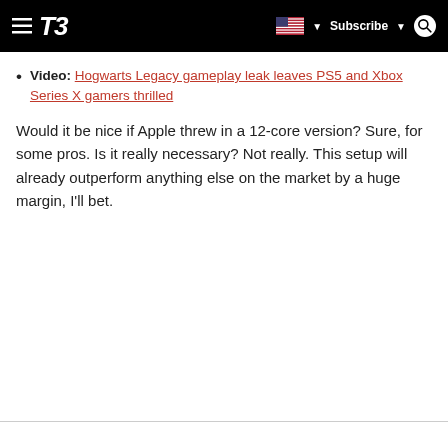T3 — hamburger menu, flag/region selector, Subscribe, Search
Video: Hogwarts Legacy gameplay leak leaves PS5 and Xbox Series X gamers thrilled
Would it be nice if Apple threw in a 12-core version? Sure, for some pros. Is it really necessary? Not really. This setup will already outperform anything else on the market by a huge margin, I'll bet.